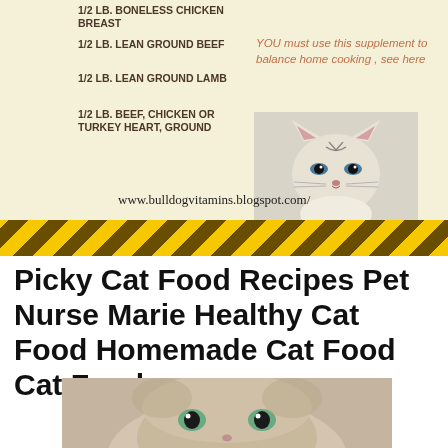1/2 LB. BONELESS CHICKEN BREAST
1/2 LB. LEAN GROUND BEEF
1/2 LB. LEAN GROUND LAMB
1/2 LB. BEEF, CHICKEN OR TURKEY HEART, GROUND
YOU must use this supplement to balance home cooking , see here
[Figure (photo): Close-up photo of a Siamese cat with blue eyes looking at camera]
www.bulldogvitamins.blogspot.com/
Picky Cat Food Recipes Pet Nurse Marie Healthy Cat Food Homemade Cat Food Cat Food
[Figure (photo): Close-up photo of a fluffy cat with blue-green eyes peeking from below]